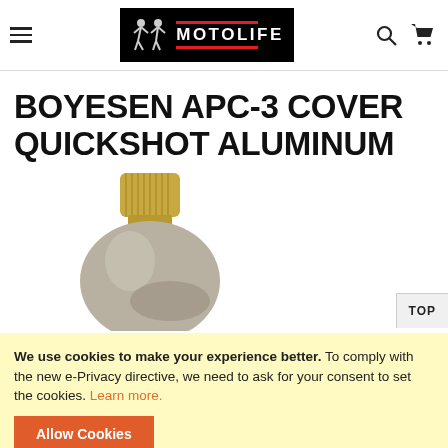[Figure (logo): Motolife logo — black background with two rider figures and MOTOLIFE text in white with red bars]
BOYESEN APC-3 COVER QUICKSHOT ALUMINUM
[Figure (photo): Close-up photo of a brass/aluminum quickshot cover component — cylindrical knurled top on a rounded body, yellowish-gold tone]
We use cookies to make your experience better. To comply with the new e-Privacy directive, we need to ask for your consent to set the cookies. Learn more.
Allow Cookies